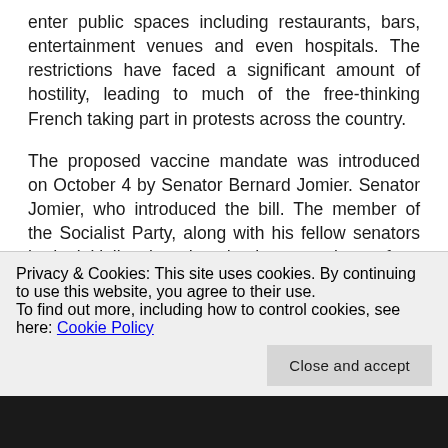enter public spaces including restaurants, bars, entertainment venues and even hospitals. The restrictions have faced a significant amount of hostility, leading to much of the free-thinking French taking part in protests across the country.
The proposed vaccine mandate was introduced on October 4 by Senator Bernard Jomier. Senator Jomier, who introduced the bill. The member of the Socialist Party, along with his fellow senators had initially introduced the premise of a nationwide vaccine mandate to the French Senate on August 31st.
Privacy & Cookies: This site uses cookies. By continuing to use this website, you agree to their use.
To find out more, including how to control cookies, see here: Cookie Policy
Close and accept